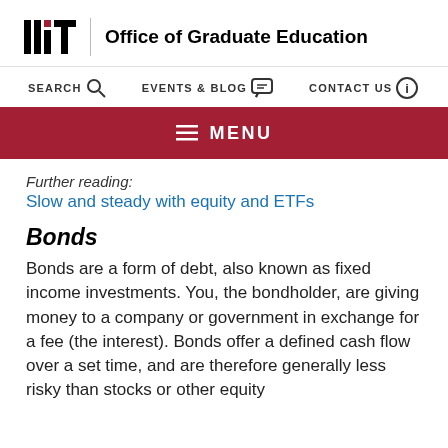[Figure (logo): MIT Office of Graduate Education logo with MIT initials and full office name]
SEARCH   EVENTS & BLOG   CONTACT US
☰ MENU
Further reading:
Slow and steady with equity and ETFs
Bonds
Bonds are a form of debt, also known as fixed income investments. You, the bondholder, are giving money to a company or government in exchange for a fee (the interest). Bonds offer a defined cash flow over a set time, and are therefore generally less risky than stocks or other equity